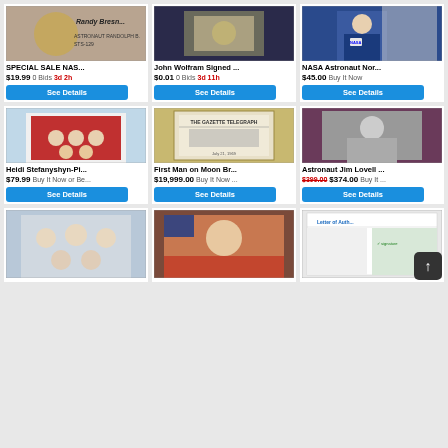[Figure (photo): NASA Space Shuttle autographed item with Randy Bresnik signature]
SPECIAL SALE NAS...
$19.99 0 Bids 3d 2h
See Details
[Figure (photo): John Wolfram signed NASA photo of space hardware]
John Wolfram Signed ...
$0.01 0 Bids 3d 11h
See Details
[Figure (photo): NASA Astronaut in blue flight suit with signature]
NASA Astronaut Nor...
$45.00 Buy It Now
See Details
[Figure (photo): Heidi Stefanyshyn-Piper signed crew photo in red suits]
Heidi Stefanyshyn-Pi...
$79.99 Buy It Now or Be...
See Details
[Figure (photo): First Man on Moon framed newspaper front page]
First Man on Moon Br...
$19,999.00 Buy It Now ...
See Details
[Figure (photo): Astronaut Jim Lovell signed photo in space suit]
Astronaut Jim Lovell ...
$399.00 $374.00 Buy It ...
See Details
[Figure (photo): Group of astronauts in white suits photo]
[Figure (photo): Astronaut in orange flight suit with flag signed photo]
[Figure (photo): NASA letter of authenticity document with signature]